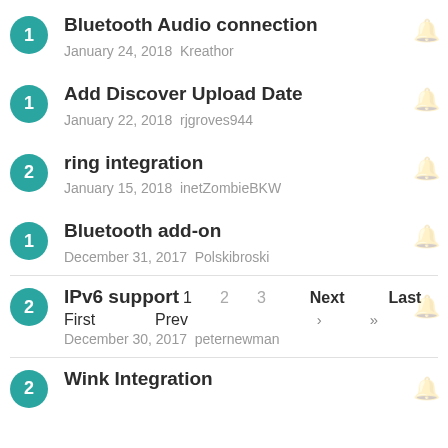1 Bluetooth Audio connection
January 24, 2018 Kreathor
1 Add Discover Upload Date
January 22, 2018 rjgroves944
2 ring integration
January 15, 2018 inetZombieBKW
1 Bluetooth add-on
December 31, 2017 Polskibroski
2 IPv6 support
December 30, 2017 peternewman
2 Wink Integration